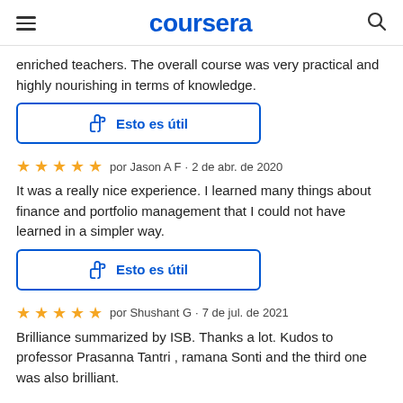coursera
enriched teachers. The overall course was very practical and highly nourishing in terms of knowledge.
[Figure (other): Thumbs up button labeled 'Esto es útil' (This is useful) with blue border]
por Jason A F · 2 de abr. de 2020
It was a really nice experience. I learned many things about finance and portfolio management that I could not have learned in a simpler way.
[Figure (other): Thumbs up button labeled 'Esto es útil' (This is useful) with blue border]
por Shushant G · 7 de jul. de 2021
Brilliance summarized by ISB. Thanks a lot. Kudos to professor Prasanna Tantri , ramana Sonti and the third one was also brilliant.